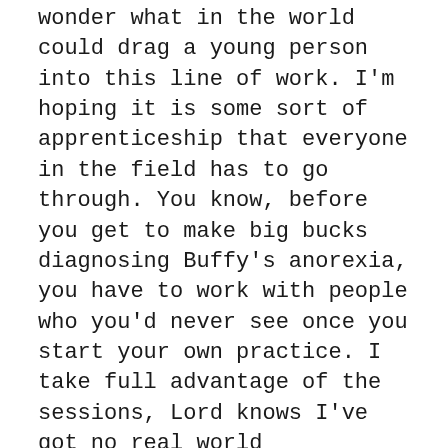wonder what in the world could drag a young person into this line of work. I'm hoping it is some sort of apprenticeship that everyone in the field has to go through. You know, before you get to make big bucks diagnosing Buffy's anorexia, you have to work with people who you'd never see once you start your own practice. I take full advantage of the sessions, Lord knows I've got no real world opportunity to get this kind of care. I am amused when the psychologist suggests we do a few tests.
Turns out they weren't pictures of ink blots that resemble moths mating. These were real IQ tests. According to the test results, I'm special. In a good way. The psychologist is more than amused with the scores. Amused to